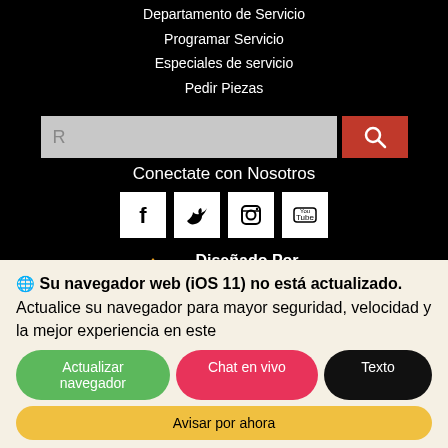Departamento de Servicio
Programar Servicio
Especiales de servicio
Pedir Piezas
[Figure (screenshot): Search input box with letter R and red search button with magnifying glass icon]
Conectate con Nosotros
[Figure (illustration): Social media icons: Facebook, Twitter, Instagram, YouTube on white squares]
[Figure (logo): Diseñado Por FOX DEALER logo with yellow fox icon]
CONTÁCTENOS · ACCESIBILIDAD · DESCARGO DE RESPONSABILIDAD · POLÍTICA DE PRIVACIDAD · COPYRIGHT ©
Su navegador web (iOS 11) no está actualizado. Actualice su navegador para mayor seguridad, velocidad y la mejor experiencia en este
Actualizar navegador   Chat en vivo   Texto   Avisar por ahora